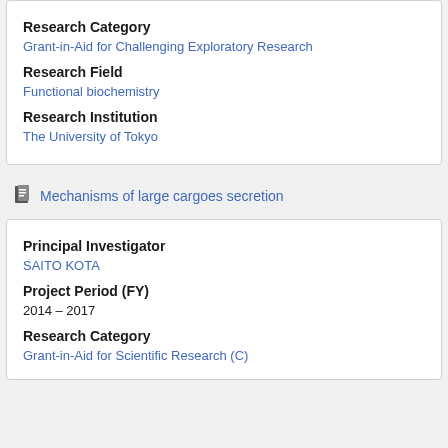Research Category
Grant-in-Aid for Challenging Exploratory Research
Research Field
Functional biochemistry
Research Institution
The University of Tokyo
Mechanisms of large cargoes secretion
Principal Investigator
SAITO KOTA
Project Period (FY)
2014 – 2017
Research Category
Grant-in-Aid for Scientific Research (C)